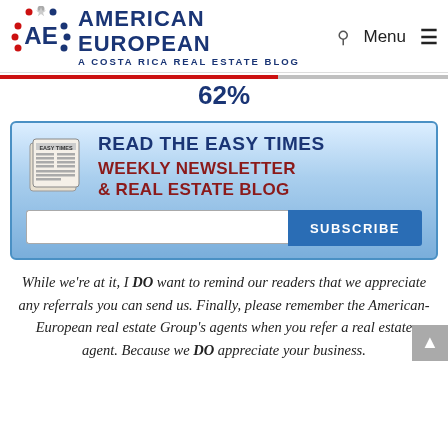[Figure (logo): American European – A Costa Rica Real Estate Blog logo with AE emblem and navigation bar with search and menu icons]
62%
[Figure (infographic): READ THE EASY TIMES WEEKLY NEWSLETTER & REAL ESTATE BLOG banner ad with newspaper icon, email input field and SUBSCRIBE button on a blue gradient background]
While we're at it, I DO want to remind our readers that we appreciate any referrals you can send us. Finally, please remember the American-European real estate Group's agents when you refer a real estate agent. Because we DO appreciate your business.